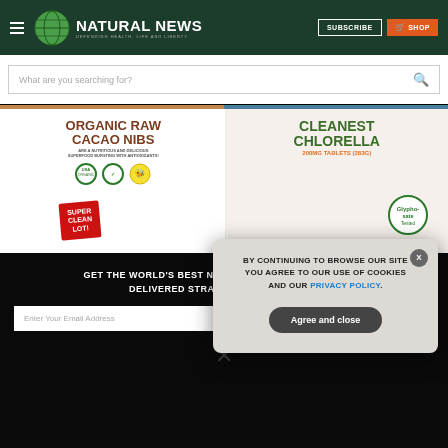[Figure (logo): Natural News logo with globe icon and tagline 'Defending Health, Life and Liberty' on dark green header bar with Subscribe and Shop buttons]
[Figure (screenshot): Search bar with placeholder text 'What are you searching for?' and magnifying glass icon]
[Figure (illustration): Two product advertisement images side by side: Organic Raw Cacao Nibs (Super Clean Lot) on the left and Cleanest Chlorella 200mg Tablets (283g) on the right]
GET THE WORLD'S BEST NATURAL HEALTH NEWSLETTER DELIVERED STRAIGHT TO YOUR INBOX
BY CONTINUING TO BROWSE OUR SITE YOU AGREE TO OUR USE OF COOKIES AND OUR PRIVACY POLICY.
Agree and close